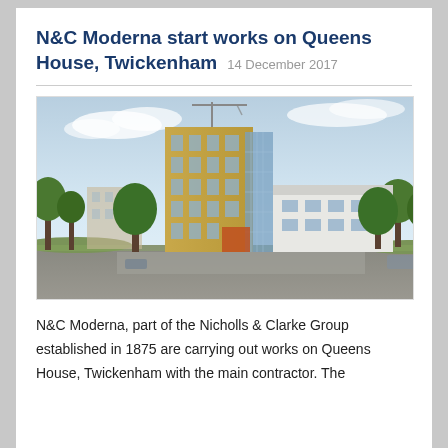N&C Moderna start works on Queens House, Twickenham   14 December 2017
[Figure (illustration): Architectural rendering of Queens House, Twickenham — a modern mixed-use building with a tall brick tower on the left and a lower white extension on the right, surrounded by trees and a street scene, shown from an aerial perspective.]
N&C Moderna, part of the Nicholls & Clarke Group established in 1875 are carrying out works on Queens House, Twickenham with the main contractor. The